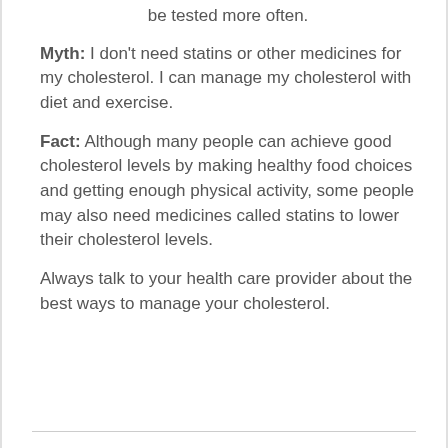be tested more often.
Myth: I don't need statins or other medicines for my cholesterol. I can manage my cholesterol with diet and exercise.
Fact: Although many people can achieve good cholesterol levels by making healthy food choices and getting enough physical activity, some people may also need medicines called statins to lower their cholesterol levels.
Always talk to your health care provider about the best ways to manage your cholesterol.